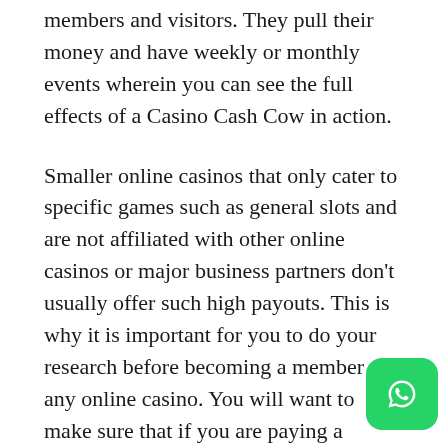members and visitors. They pull their money and have weekly or monthly events wherein you can see the full effects of a Casino Cash Cow in action.
Smaller online casinos that only cater to specific games such as general slots and are not affiliated with other online casinos or major business partners don't usually offer such high payouts. This is why it is important for you to do your research before becoming a member of any online casino. You will want to make sure that if you are paying a membership fee that you are signing up for a casino with high payouts and not a simple “backyard” casino with low to moderate payouts. link slot gacor